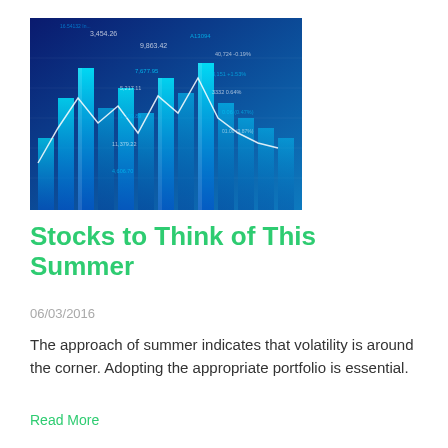[Figure (illustration): Stock market data visualization with blue bar chart and white line graph overlay, showing various stock prices and numbers on a dark blue background]
Stocks to Think of This Summer
06/03/2016
The approach of summer indicates that volatility is around the corner. Adopting the appropriate portfolio is essential.
Read More